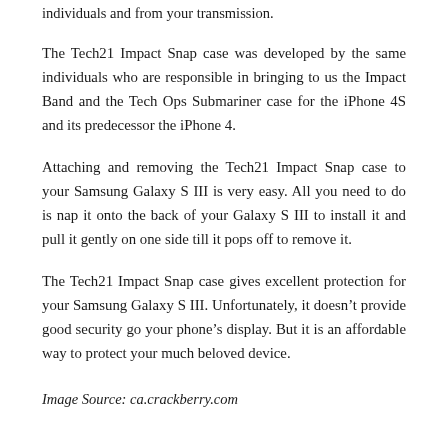individuals and from your transmission.
The Tech21 Impact Snap case was developed by the same individuals who are responsible in bringing to us the Impact Band and the Tech Ops Submariner case for the iPhone 4S and its predecessor the iPhone 4.
Attaching and removing the Tech21 Impact Snap case to your Samsung Galaxy S III is very easy. All you need to do is nap it onto the back of your Galaxy S III to install it and pull it gently on one side till it pops off to remove it.
The Tech21 Impact Snap case gives excellent protection for your Samsung Galaxy S III. Unfortunately, it doesn’t provide good security go your phone’s display. But it is an affordable way to protect your much beloved device.
Image Source: ca.crackberry.com